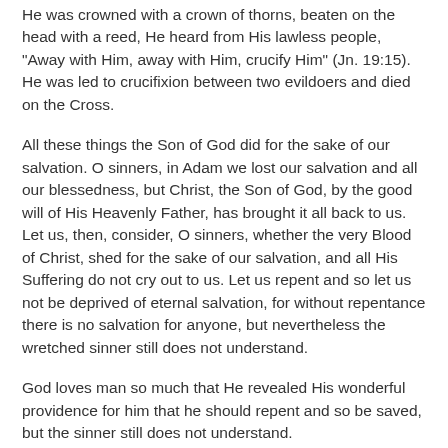He was crowned with a crown of thorns, beaten on the head with a reed, He heard from His lawless people, "Away with Him, away with Him, crucify Him" (Jn. 19:15). He was led to crucifixion between two evildoers and died on the Cross.
All these things the Son of God did for the sake of our salvation. O sinners, in Adam we lost our salvation and all our blessedness, but Christ, the Son of God, by the good will of His Heavenly Father, has brought it all back to us. Let us, then, consider, O sinners, whether the very Blood of Christ, shed for the sake of our salvation, and all His Suffering do not cry out to us. Let us repent and so let us not be deprived of eternal salvation, for without repentance there is no salvation for anyone, but nevertheless the wretched sinner still does not understand.
God loves man so much that He revealed His wonderful providence for him that he should repent and so be saved, but the sinner still does not understand.
Christ the Son of God shows him His coming into the world for his sake, in the Gospel. He presents to him His willing